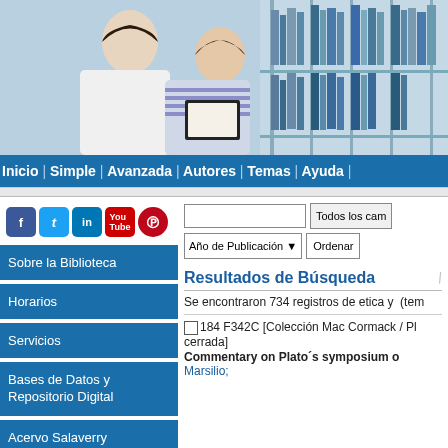[Figure (photo): Banner photo of two students in a library reading a book, with bookshelves in the background]
Inicio | Simple | Avanzada | Autores | Temas | Ayuda |
[Figure (infographic): Social media icons: Facebook, Twitter, LinkedIn, YouTube, Pinterest]
Sobre la Biblioteca
Horarios
Servicios
Bases de Datos y Repositorio Digital
Acervo Salaverry
Resultados de Búsqueda
Se encontraron 734 registros de etica y  (tem
184 F342C [Colección Mac Cormack / Pl cerrada]
Commentary on Plato´s symposium o
Marsilio;